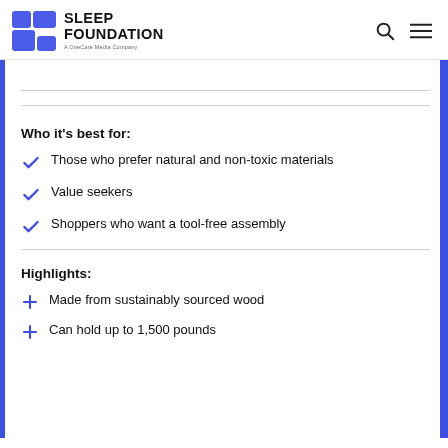SLEEP FOUNDATION — A OneCare Media Company
Who it's best for:
Those who prefer natural and non-toxic materials
Value seekers
Shoppers who want a tool-free assembly
Highlights:
Made from sustainably sourced wood
Can hold up to 1,500 pounds